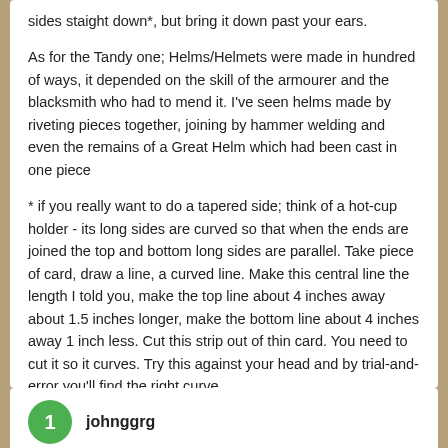sides staight down*, but bring it down past your ears.
As for the Tandy one; Helms/Helmets were made in hundred of ways, it depended on the skill of the armourer and the blacksmith who had to mend it. I've seen helms made by riveting pieces together, joining by hammer welding and even the remains of a Great Helm which had been cast in one piece
* if you really want to do a tapered side; think of a hot-cup holder - its long sides are curved so that when the ends are joined the top and bottom long sides are parallel. Take piece of card, draw a line, a curved line. Make this central line the length I told you, make the top line about 4 inches away about 1.5 inches longer, make the bottom line about 4 inches away 1 inch less. Cut this strip out of thin card. You need to cut it so it curves. Try this against your head and by trial-and-error you'll find the right curve
+ Quote
johnggrg